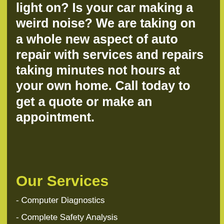light on? Is your car making a weird noise? We are taking on a whole new aspect of auto repair with services and repairs taking minutes not hours at your own home. Call today to get a quote or make an appointment.
Our Services
- Computer Diagnostics
- Complete Safety Analysis